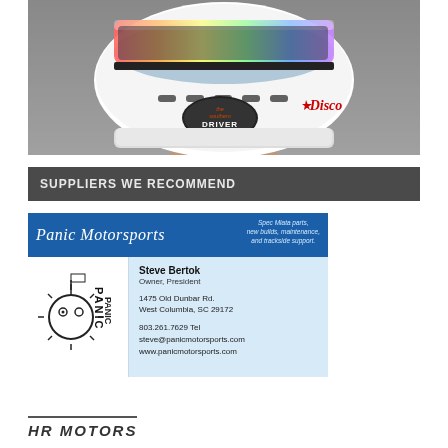[Figure (photo): Close-up photo of a white racing helmet held in a hand, with stickers including 'the southern Driver' and 'Disco', iridescent visor visible at top]
SUPPLIERS WE RECOMMEND
[Figure (infographic): Panic Motorsports business card showing logo, name 'Panic Motorsports', tagline 'Spec Miata parts, new builds, maintenance, and trackside support.', contact Steve Bertok Owner President, 1475 Old Dunbar Rd. West Columbia SC 29172, 803.261.7629 Tel, steve@panicmotorsports.com, www.panicmotorsports.com]
HR MOTORS